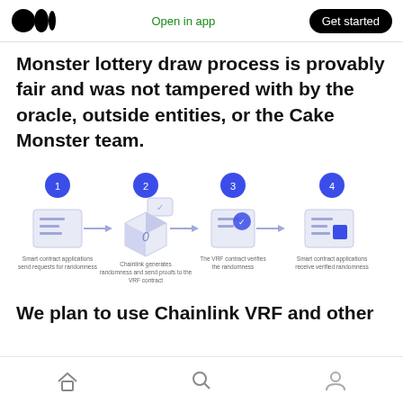Open in app | Get started
Monster lottery draw process is provably fair and was not tampered with by the oracle, outside entities, or the Cake Monster team.
[Figure (flowchart): Four-step Chainlink VRF flow diagram: 1) Smart contract applications send requests for randomness → 2) Chainlink generates randomness and send proofs to the VRF contract → 3) The VRF contract verifies the randomness → 4) Smart contract applications receive verified randomness]
We plan to use Chainlink VRF and other
Home | Search | Profile